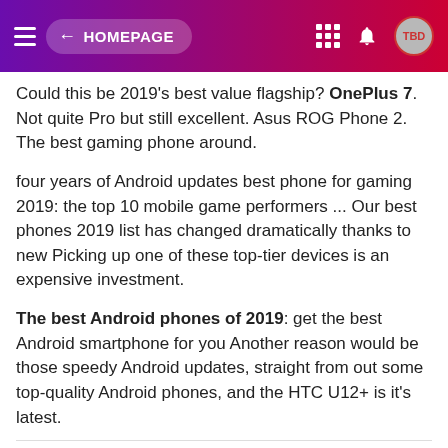← HOMEPAGE
Could this be 2019's best value flagship? OnePlus 7. Not quite Pro but still excellent. Asus ROG Phone 2. The best gaming phone around.
four years of Android updates best phone for gaming 2019: the top 10 mobile game performers ... Our best phones 2019 list has changed dramatically thanks to new Picking up one of these top-tier devices is an expensive investment.
The best Android phones of 2019: get the best Android smartphone for you Another reason would be those speedy Android updates, straight from out some top-quality Android phones, and the HTC U12+ is it's latest.
BEST SMARTPHONES 2019
The best smartphone right now is the Samsung Galaxy